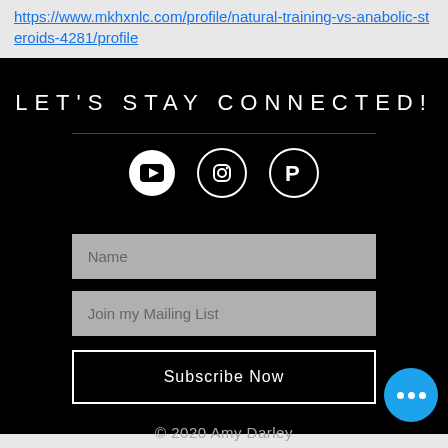https://www.mkhxnlc.com/profile/natural-training-vs-anabolic-steroids-4281/profile
LET'S STAY CONNECTED!
[Figure (infographic): Social media icons: YouTube (circle with play button), Instagram, Pinterest]
[Figure (other): Contact form with Name input, Join my Mailing List input, and Subscribe Now button]
© 2020 Amy Darley